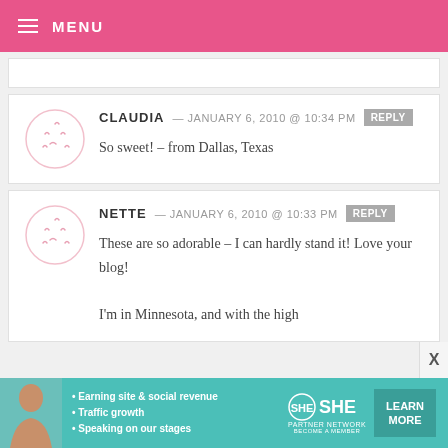MENU
CLAUDIA — JANUARY 6, 2010 @ 10:34 PM  REPLY
So sweet! – from Dallas, Texas
NETTE — JANUARY 6, 2010 @ 10:33 PM  REPLY
These are so adorable – I can hardly stand it! Love your blog!
I'm in Minnesota, and with the high
[Figure (infographic): SHE Partner Network advertisement banner with woman photo, bullet points: Earning site & social revenue, Traffic growth, Speaking on our stages, SHE logo, LEARN MORE button]